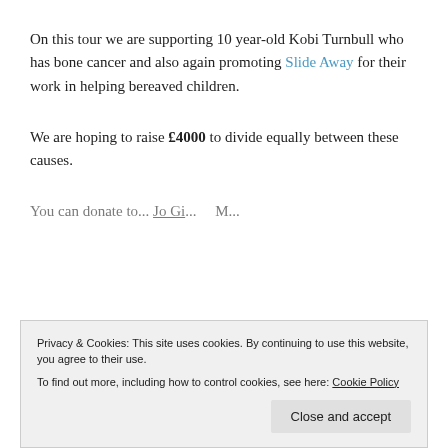On this tour we are supporting 10 year-old Kobi Turnbull who has bone cancer and also again promoting Slide Away for their work in helping bereaved children.
We are hoping to raise £4000 to divide equally between these causes.
You can donate to... [partially visible]
Privacy & Cookies: This site uses cookies. By continuing to use this website, you agree to their use. To find out more, including how to control cookies, see here: Cookie Policy